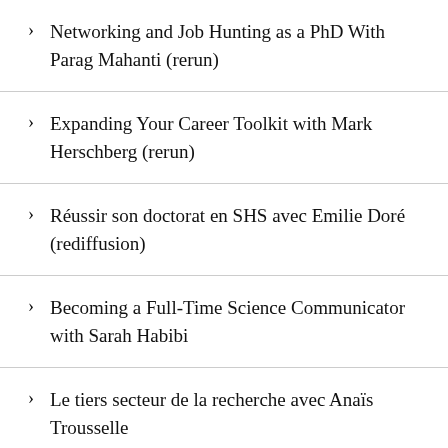Networking and Job Hunting as a PhD With Parag Mahanti (rerun)
Expanding Your Career Toolkit with Mark Herschberg (rerun)
Réussir son doctorat en SHS avec Emilie Doré (rediffusion)
Becoming a Full-Time Science Communicator with Sarah Habibi
Le tiers secteur de la recherche avec Anaïs Trousselle